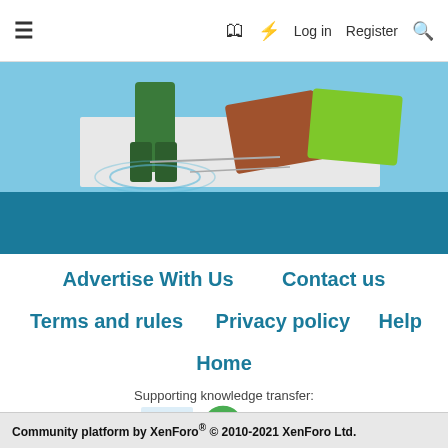≡  Log in  Register  🔍
[Figure (illustration): Partial hero image showing person in green boots standing on a flooded tile, with other colorful tiles nearby, blue background]
[Figure (other): Teal/dark blue horizontal banner band]
Advertise With Us
Contact us
Terms and rules
Privacy policy
Help
Home
Supporting knowledge transfer:
[Figure (logo): Sponsor logos: Oxbury, AHDB, YEN, Argentex, Herdwatch]
Community platform by XenForo® © 2010-2021 XenForo Ltd.